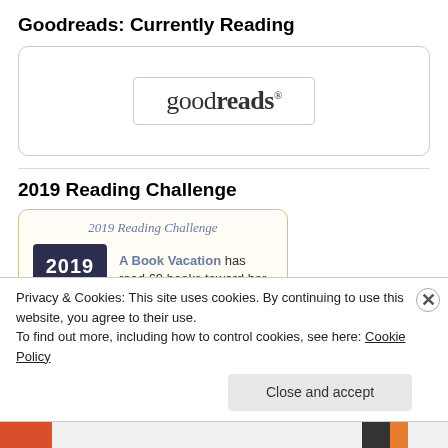Goodreads: Currently Reading
[Figure (logo): Goodreads logo in a rounded rectangle widget box]
2019 Reading Challenge
[Figure (infographic): 2019 Reading Challenge widget showing A Book Vacation has read 69 books toward her goal of 70]
Privacy & Cookies: This site uses cookies. By continuing to use this website, you agree to their use. To find out more, including how to control cookies, see here: Cookie Policy
Close and accept